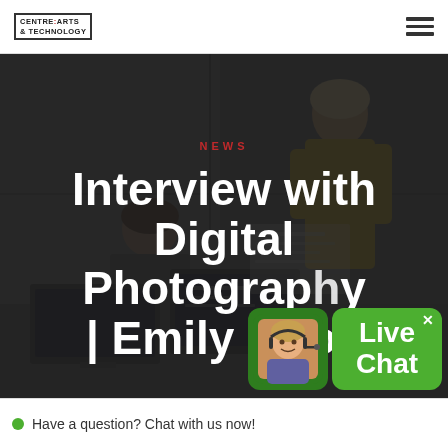CENTRE FOR ARTS & TECHNOLOGY
[Figure (photo): Dark overlay photo of people working at computers in an office/classroom setting, two women visible, one blonde standing, one seated, looking at screens. Dark desaturated background image used as hero banner.]
NEWS
Interview with Digital Photography | Emily Cook
[Figure (photo): Live Chat widget showing a customer service representative wearing a headset, green background boxes with 'Live Chat' text and an X close button]
Have a question? Chat with us now!